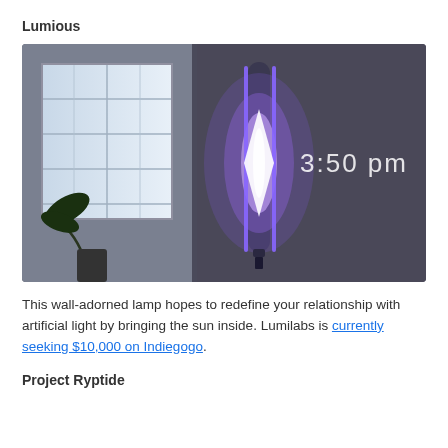Lumious
[Figure (photo): A wall-mounted smart lamp device glowing with blue-purple light showing '3:50 pm' text on the right side of a dark wall. The left side shows a room interior with a window and potted plant.]
This wall-adorned lamp hopes to redefine your relationship with artificial light by bringing the sun inside. Lumilabs is currently seeking $10,000 on Indiegogo.
Project Ryptide